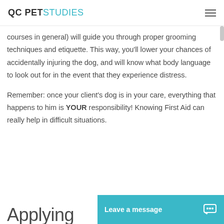QC PET STUDIES
courses in general) will guide you through proper grooming techniques and etiquette. This way, you'll lower your chances of accidentally injuring the dog, and will know what body language to look out for in the event that they experience distress.
Remember: once your client's dog is in your care, everything that happens to him is YOUR responsibility! Knowing First Aid can really help in difficult situations.
Applying